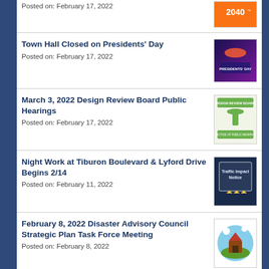Posted on: February 17, 2022
Town Hall Closed on Presidents' Day
Posted on: February 17, 2022
March 3, 2022 Design Review Board Public Hearings
Posted on: February 17, 2022
Night Work at Tiburon Boulevard & Lyford Drive Begins 2/14
Posted on: February 11, 2022
February 8, 2022 Disaster Advisory Council Strategic Plan Task Force Meeting
Posted on: February 8, 2022
February 17, 2022 Design Review Board Public Hearings
Posted on: February 7, 2022